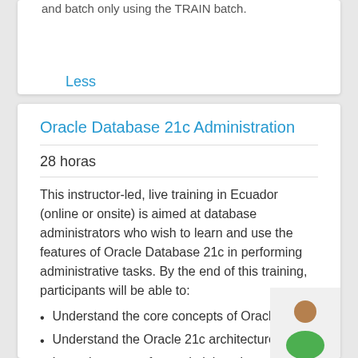and batch only using the TRAIN batch.
Less
Oracle Database 21c Administration
28 horas
This instructor-led, live training in Ecuador (online or onsite) is aimed at database administrators who wish to learn and use the features of Oracle Database 21c in performing administrative tasks. By the end of this training, participants will be able to:
Understand the core concepts of Oracle... More
Understand the Oracle 21c architecture.
Learn how to perform administration tasks on Oracle 21c.
Understand the Oracle 21c backup and recovery